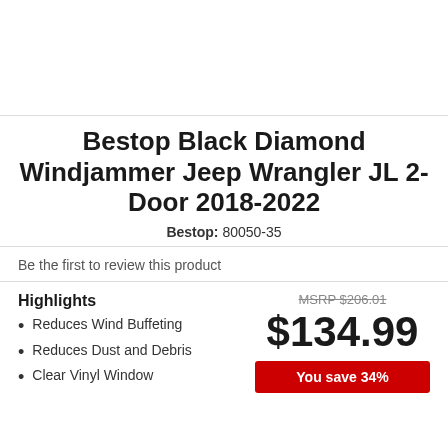Bestop Black Diamond Windjammer Jeep Wrangler JL 2-Door 2018-2022
Bestop: 80050-35
Be the first to review this product
Highlights
Reduces Wind Buffeting
Reduces Dust and Debris
Clear Vinyl Window
MSRP $206.01
$134.99
You save 34%